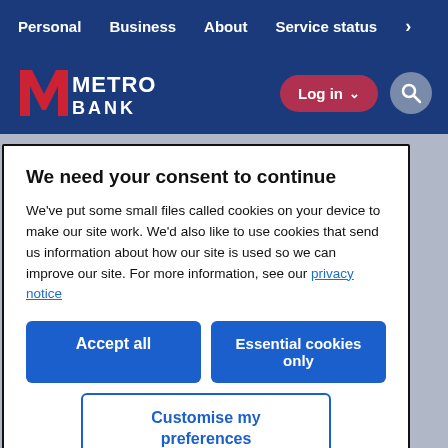Personal  Business  About  Service status >
[Figure (logo): Metro Bank logo with red M and white METRO BANK text on dark blue background, with Log in button and search icon]
We need your consent to continue
We've put some small files called cookies on your device to make our site work. We'd also like to use cookies that send us information about how our site is used so we can improve our site. For more information, see our privacy notice
Accept all
Essential cookies only
Customise my preferences